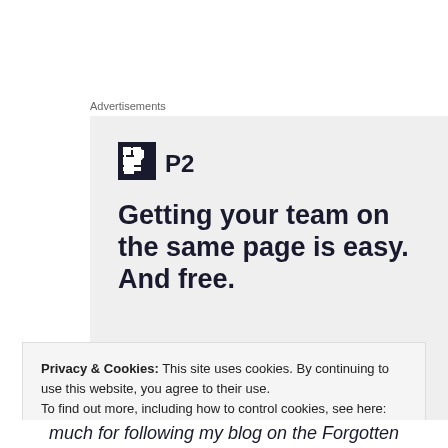Advertisements
[Figure (illustration): P2 advertisement banner with logo, headline 'Getting your team on the same page is easy. And free.' and avatar circles at bottom]
Privacy & Cookies: This site uses cookies. By continuing to use this website, you agree to their use.
To find out more, including how to control cookies, see here: Cookie Policy
much for following my blog on the Forgotten